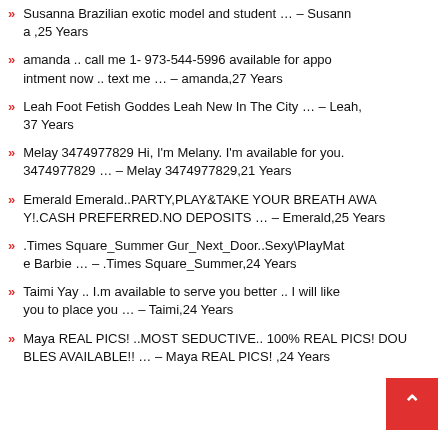Susanna Brazilian exotic model and student … – Susanna ,25 Years
amanda .. call me 1- 973-544-5996 available for appointment now .. text me … – amanda,27 Years
Leah Foot Fetish Goddes Leah New In The City … – Leah, 37 Years
Melay 3474977829 Hi, I'm Melany. I'm available for you. 3474977829 … – Melay 3474977829,21 Years
Emerald Emerald..PARTY,PLAY&TAKE YOUR BREATH AWAY!.CASH PREFERRED.NO DEPOSITS … – Emerald,25 Years
.Times Square_Summer Gur_Next_Door..Sexy\PlayMate Barbie … – .Times Square_Summer,24 Years
Taimi Yay .. I.m available to serve you better .. I will like you to place you … – Taimi,24 Years
Maya REAL PICS! ..MOST SEDUCTIVE.. 100% REAL PICS! DOUBLES AVAILABLE!! … – Maya REAL PICS! ,24 Years